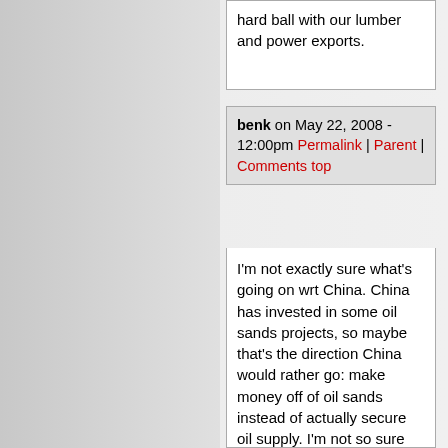hard ball with our lumber and power exports.
benk on May 22, 2008 - 12:00pm Permalink | Parent | Comments top
I'm not exactly sure what's going on wrt China. China has invested in some oil sands projects, so maybe that's the direction China would rather go: make money off of oil sands instead of actually secure oil supply. I'm not so sure how easy it would be to set up a consistent oil supply from Alberta to